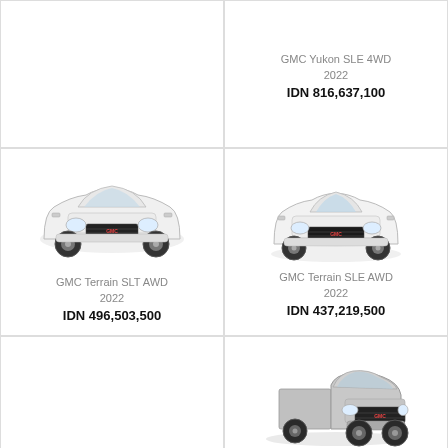[Figure (photo): Empty top-left cell, no vehicle shown]
GMC Yukon SLE 4WD
2022
IDN 816,637,100
[Figure (photo): White GMC Terrain SLT AWD 2022 front view]
[Figure (photo): White GMC Terrain SLE AWD 2022 front view]
GMC Terrain SLT AWD
2022
IDN 496,503,500
GMC Terrain SLE AWD
2022
IDN 437,219,500
Empty bottom-left cell
[Figure (photo): Gray GMC Sierra 1500 Elevation 2022 front view]
GMC Sierra 1500 Elevation
2022
IDN 653,606,100